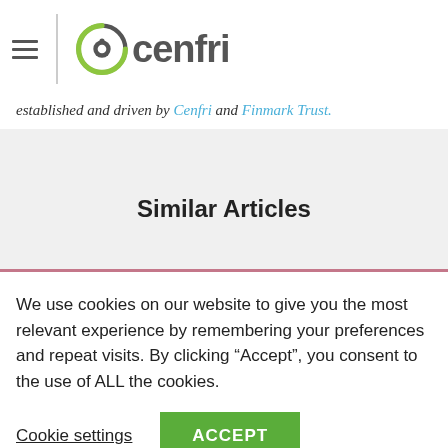[Figure (logo): Cenfri logo with circular green icon and grey text]
established and driven by Cenfri and Finmark Trust.
Similar Articles
We use cookies on our website to give you the most relevant experience by remembering your preferences and repeat visits. By clicking “Accept”, you consent to the use of ALL the cookies.
Cookie settings  ACCEPT